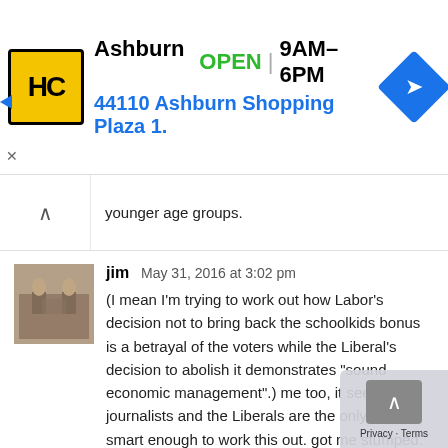[Figure (infographic): Advertisement banner: HC logo in yellow/black, Ashburn OPEN 9AM-6PM, 44110 Ashburn Shopping Plaza 1., blue navigation diamond icon]
younger age groups.
jim   May 31, 2016 at 3:02 pm
(I mean I'm trying to work out how Labor's decision not to bring back the schoolkids bonus is a betrayal of the voters while the Liberal's decision to abolish it demonstrates “sound economic management”.) me too, it seems that journalists and the Liberals are the only ones smart enough to work this out. got me stumped.
jim   May 31, 2016 at 3:10 pm
And another one is that labor cut $10M from the